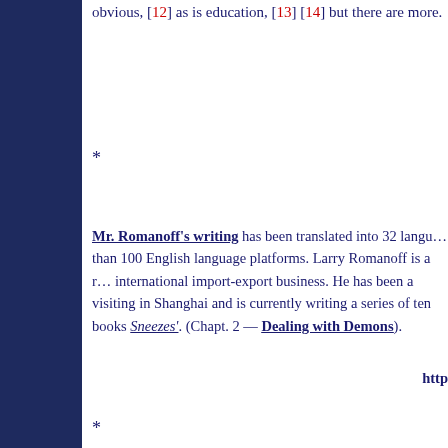obvious, [12] as is education, [13] [14] but there are more.
*
Mr. Romanoff’s writing has been translated into 32 languages and carried on more than 100 English language platforms. Larry Romanoff is a retired management consultant and businessman with a background in international import-export business. He has been a visiting professor at Shanghai’s Fudan University in Shanghai and is currently writing a series of ten books generally related to China and the West. He is a ‘retired’ management consultant. His full archive can be seen at https://www.bluemoonofshanghai.com/ and https://www.moonofshanghai.com/ He can be contacted at: 2186604556@qq.com Sneezes’. (Chapt. 2 — Dealing with Demons).
http
*